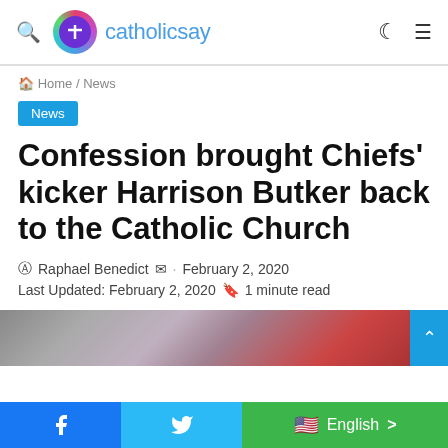catholicsay
Home / News
News
Confession brought Chiefs' kicker Harrison Butker back to the Catholic Church
Raphael Benedict · February 2, 2020
Last Updated: February 2, 2020  1 minute read
[Figure (photo): Blurred photo of Harrison Butker]
Facebook  Twitter  English >